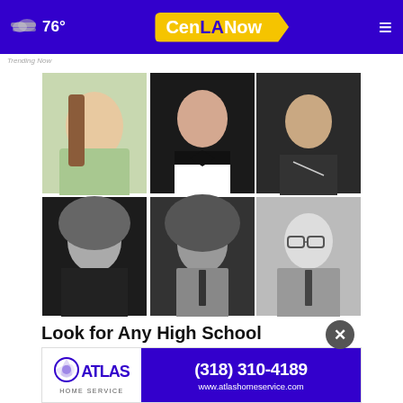76° CenLANow
Trending Now
[Figure (photo): A 2x3 grid of black-and-white and color high school yearbook portrait photos showing six students from what appears to be the 1970s-1980s era.]
Look for Any High School Yearbook, It's Fr...
Class...
[Figure (logo): Atlas Home Service advertisement banner with phone number (318) 310-4189 and website www.atlashomeservice.com]